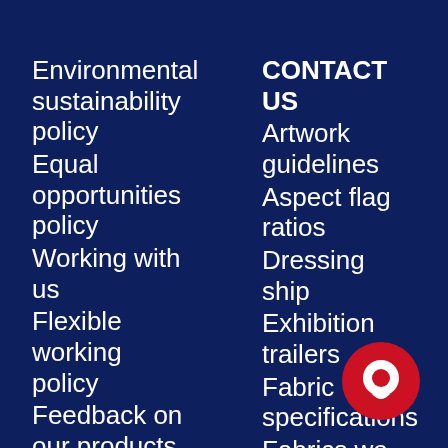Environmental sustainability policy
Equal opportunities policy
Working with us
Flexible working policy
Feedback on our products and customer service
High value manufacturing
CONTACT US
Artwork guidelines
Aspect flag ratios
Dressing ship
Exhibition trailers
Fabric specifications
Fabrics we use
Flag etiquette
Flag format
Flag finishes
[Figure (illustration): Red circular chat button with white speech bubble icon in bottom right corner]